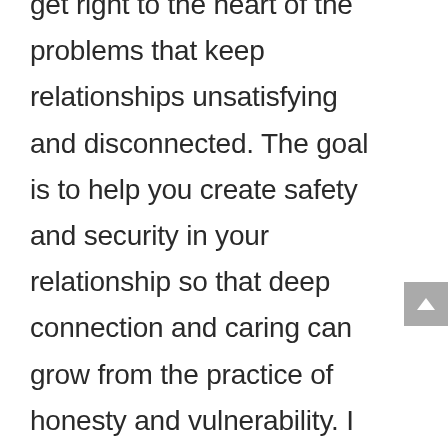get right to the heart of the problems that keep relationships unsatisfying and disconnected. The goal is to help you create safety and security in your relationship so that deep connection and caring can grow from the practice of honesty and vulnerability. I will help a couple identify the negative cycle they get stuck in. Then I will lead the couple to develop new ways of interacting that will help manage conflict and move into the caring, loving, and connected relationship we all desire. EFT has been found to be successful